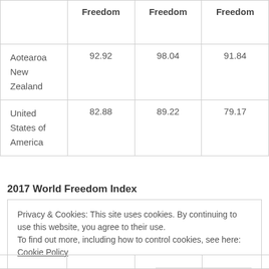|  | Freedom | Freedom | Freedom |
| --- | --- | --- | --- |
| Aotearoa New Zealand | 92.92 | 98.04 | 91.84 |
| United States of America | 82.88 | 89.22 | 79.17 |
2017 World Freedom Index
Privacy & Cookies: This site uses cookies. By continuing to use this website, you agree to their use.
To find out more, including how to control cookies, see here: Cookie Policy
[Close and accept]